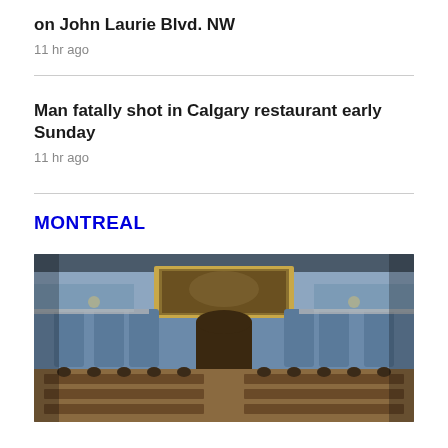on John Laurie Blvd. NW
11 hr ago
Man fatally shot in Calgary restaurant early Sunday
11 hr ago
MONTREAL
[Figure (photo): Interior of a legislative chamber with blue walls, ornate paintings, gallery seating above, and rows of desks where people are seated]